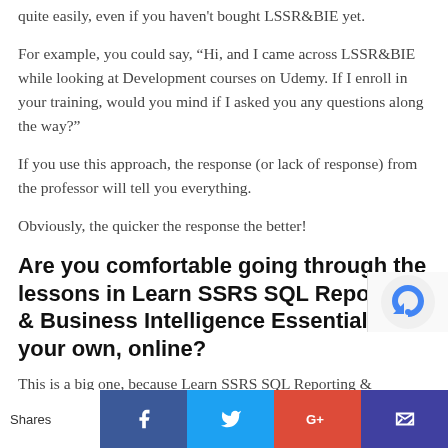quite easily, even if you haven't bought LSSR&BIE yet.
For example, you could say, “Hi, and I came across LSSR&BIE while looking at Development courses on Udemy. If I enroll in your training, would you mind if I asked you any questions along the way?”
If you use this approach, the response (or lack of response) from the professor will tell you everything.
Obviously, the quicker the response the better!
Are you comfortable going through the lessons in Learn SSRS SQL Reporting & Business Intelligence Essentials on your own, online?
This is a big one, because Learn SSRS SQL Reporting & Business Intelligence Essentials is an online course as opposed to a course that you physically take in a
Shares  [Facebook] [Twitter] [G+] [Mail]